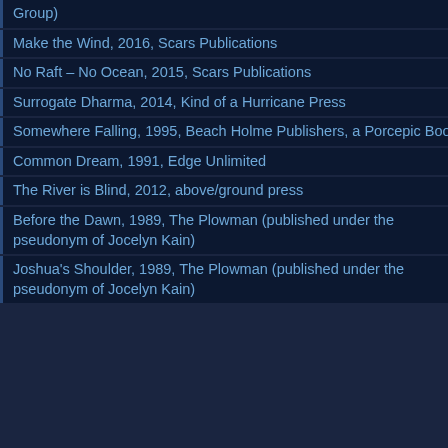Group)
Make the Wind, 2016, Scars Publications
No Raft – No Ocean, 2015, Scars Publications
Surrogate Dharma, 2014, Kind of a Hurricane Press
Somewhere Falling, 1995, Beach Holme Publishers, a Porcepic Book
Common Dream, 1991, Edge Unlimited
The River is Blind, 2012, above/ground press
Before the Dawn, 1989, The Plowman (published under the pseudonym of Jocelyn Kain)
Joshua's Shoulder, 1989, The Plowman (published under the pseudonym of Jocelyn Kain)
[Figure (photo): Dark grayscale close-up photograph of textured bark or rock surface, top portion]
[Figure (photo): Dark grayscale close-up photograph of textured bark or rock surface with lichen, bottom portion]